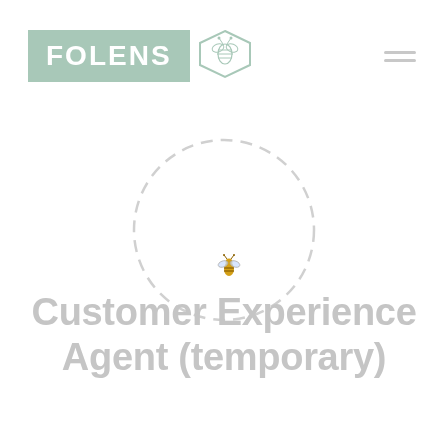[Figure (logo): Folens logo with bee in hexagon, and hamburger menu icon on the right]
[Figure (illustration): Large dashed circle with a small golden bee icon in the center-lower area]
Customer Experience Agent (temporary)